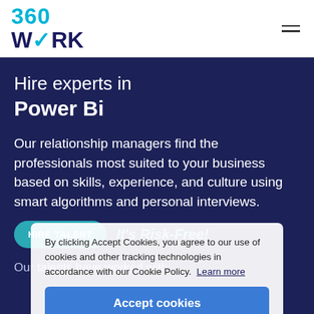[Figure (logo): 360WORK logo with teal 360 text and dark blue WORK text with a checkmark inside the O]
Hire experts in Power Bi
Our relationship managers find the professionals most suited to your business based on skills, experience, and culture using smart algorithms and personal interviews.
HIRE TALENT   It's Risk-Free!
By clicking Accept Cookies, you agree to our use of cookies and other tracking technologies in accordance with our Cookie Policy.  Learn more
Accept cookies
Our talents have worked with: